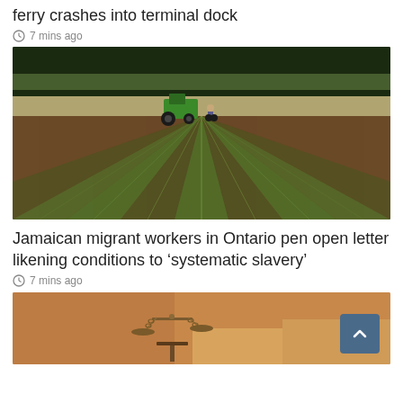ferry crashes into terminal dock
7 mins ago
[Figure (photo): Agricultural field with green rows of crops, a green tractor and a worker visible in the background against a tree line]
Jamaican migrant workers in Ontario pen open letter likening conditions to ‘systematic slavery’
7 mins ago
[Figure (photo): Close-up of bronze scales of justice figurine on a blurred warm-toned background]